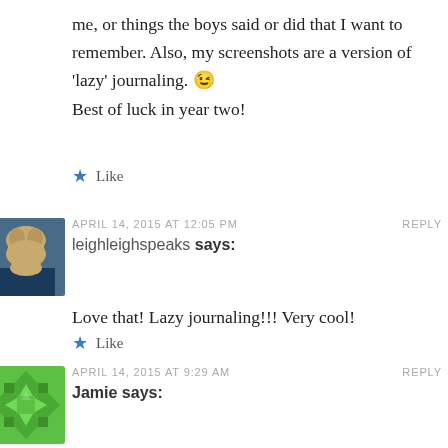me, or things the boys said or did that I want to remember. Also, my screenshots are a version of 'lazy' journaling. 😉
Best of luck in year two!
★ Like
APRIL 14, 2015 AT 12:05 PM    REPLY
leighleighspeaks says:
[Figure (photo): Avatar photo of leighleighspeaks, a woman with blonde hair against a dark background]
Love that! Lazy journaling!!! Very cool!
★ Like
[Figure (illustration): Green geometric avatar pattern for user Jamie]
APRIL 14, 2015 AT 9:29 AM    REPLY
Jamie says: